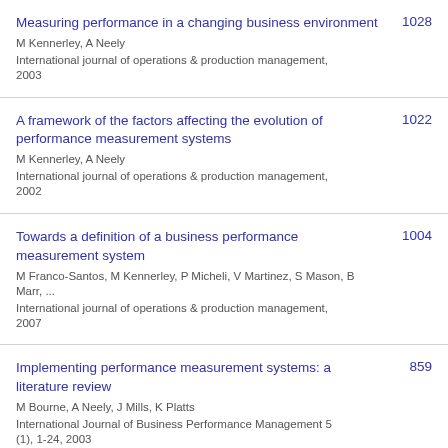Measuring performance in a changing business environment | M Kennerley, A Neely | International journal of operations & production management, 2003 | 1028
A framework of the factors affecting the evolution of performance measurement systems | M Kennerley, A Neely | International journal of operations & production management, 2002 | 1022
Towards a definition of a business performance measurement system | M Franco-Santos, M Kennerley, P Micheli, V Martinez, S Mason, B Marr, ... | International journal of operations & production management, 2007 | 1004
Implementing performance measurement systems: a literature review | M Bourne, A Neely, J Mills, K Platts | International Journal of Business Performance Management 5 (1), 1-24, 2003 | 859